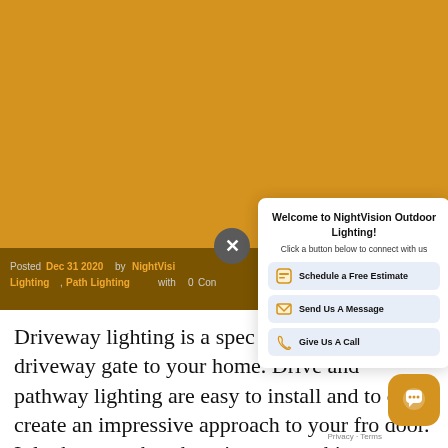[Figure (screenshot): Orange/amber colored image header area of a NightVision Outdoor Lighting blog post page]
Posted Dec 31 2020 by NightVision Lighting, Path Lighting with 0 Comments
[Figure (infographic): Popup overlay: Welcome to NightVision Outdoor Lighting! Click a button below to connect with us. Buttons: Schedule a Free Estimate, Send Us A Message, Give Us A Call]
Driveway lighting is a spec visitors from your driveway gate to your home. Driveway and pathway lighting are easy to install and to can create an impressive approach to your front door. It looks great, but there is more to this